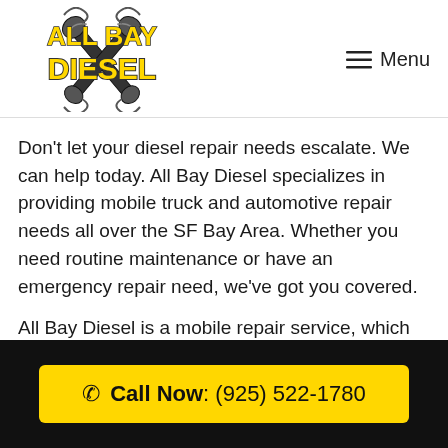[Figure (logo): All Bay Diesel logo with crossed wrenches, yellow text on black/white]
Menu
Don't let your diesel repair needs escalate. We can help today. All Bay Diesel specializes in providing mobile truck and automotive repair needs all over the SF Bay Area. Whether you need routine maintenance or have an emergency repair need, we've got you covered.
All Bay Diesel is a mobile repair service, which
Call Now: (925) 522-1780